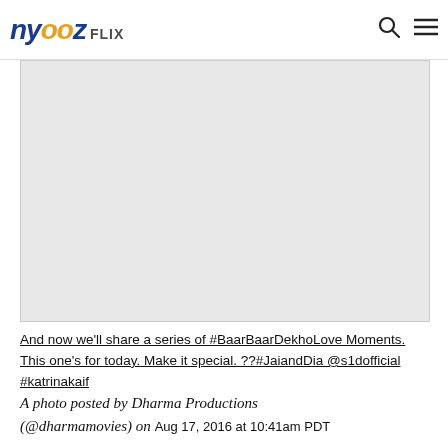nyooz FLIX
[Figure (photo): Large image placeholder area, light gray background, embedded Instagram-style post image]
And now we'll share a series of #BaarBaarDekhoLove Moments. This one's for today. Make it special. ??#JaiandDia @s1dofficial #katrinakaif
A photo posted by Dharma Productions (@dharmamovies) on Aug 17, 2016 at 10:41am PDT